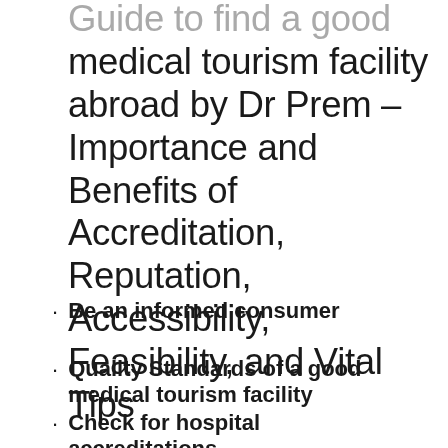Guide to find a good medical tourism facility abroad by Dr Prem – Importance and Benefits of Accreditation, Reputation, Accessibility, Feasibility, and Vital Tips
Be an informed consumer
Quality Standards of a good medical tourism facility
Check for hospital accreditations